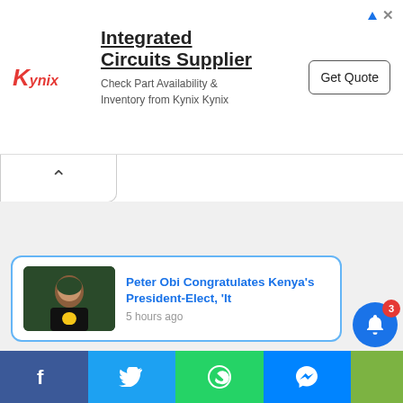[Figure (screenshot): Kynix Integrated Circuits Supplier advertisement banner with logo, text, and Get Quote button]
[Figure (screenshot): Browser tab/chevron collapse button area]
[Figure (screenshot): News notification popup: Peter Obi Congratulates Kenya's President-Elect, 'It — 5 hours ago, with thumbnail image and X close button]
[Figure (screenshot): Bottom social share bar with Facebook, Twitter, WhatsApp, Messenger icons and notification bell with badge 3]